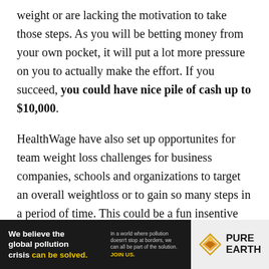weight or are lacking the motivation to take those steps. As you will be betting money from your own pocket, it will put a lot more pressure on you to actually make the effort. If you succeed, you could have nice pile of cash up to $10,000.
HealthWage have also set up opportunites for team weight loss challenges for business companies, schools and organizations to target an overall weightloss or to gain so many steps in a period of time. This could be a fun insentive for staff with the opportunity to win cash while encouraging team building.
[Figure (other): Advertisement banner for Pure Earth organization. Black left section reads 'We believe the global pollution crisis can be solved.' Right side has Pure Earth logo with diamond icon.]